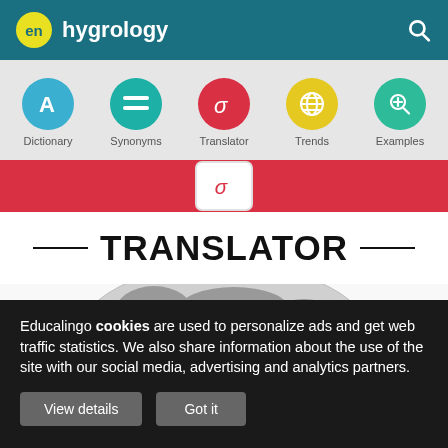en hygrology
[Figure (screenshot): Navigation icons row: Dictionary (blue circle A), Synonyms (teal circle equals), Translator (red circle sigma), Trends (yellow circle globe), Examples (green circle search)]
[Figure (screenshot): Active Translator tab selector bar in red with white sigma icon box]
TRANSLATOR
[Figure (photo): Grayscale globe/earth image partially visible]
Educalingo cookies are used to personalize ads and get web traffic statistics. We also share information about the use of the site with our social media, advertising and analytics partners.
View details
Got it